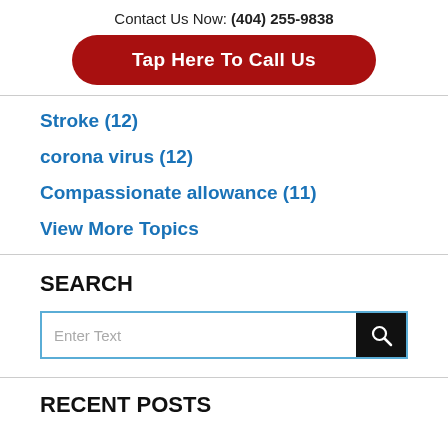Contact Us Now: (404) 255-9838
Tap Here To Call Us
Stroke (12)
corona virus (12)
Compassionate allowance (11)
View More Topics
SEARCH
Enter Text
RECENT POSTS